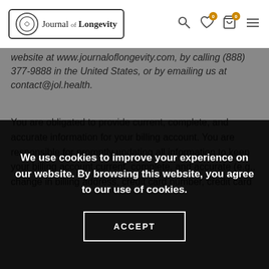Journal of Longevity
website at www.journaloflongevity.com, by calling (888) 377-9888 in the United States, or by emailing us at contact@jol.health.
You are obligated to provide current, complete, and accurate information for your billing account. You are responsible for promptly updating all information to keep your billing account current, complete, and accurate (e.g., change in billing address, credit card number, credit card...
We use cookies to improve your experience on our website. By browsing this website, you agree to our use of cookies.
ACCEPT